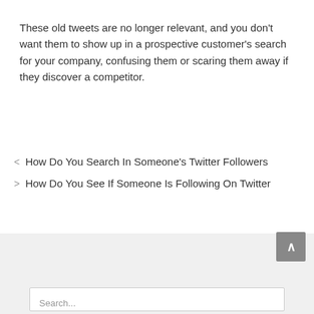These old tweets are no longer relevant, and you don't want them to show up in a prospective customer's search for your company, confusing them or scaring them away if they discover a competitor.
< How Do You Search In Someone's Twitter Followers
> How Do You See If Someone Is Following On Twitter